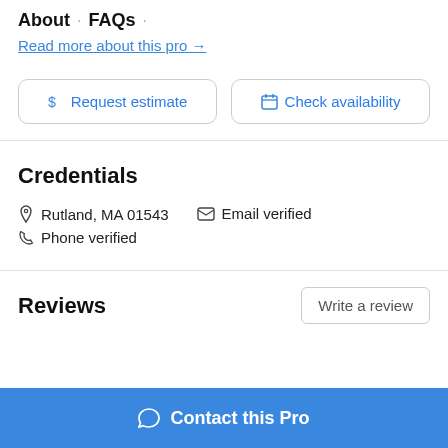About · FAQs ·
Read more about this pro →
$ Request estimate | Check availability
Credentials
Rutland, MA 01543   Email verified
Phone verified
Reviews
Write a review
Contact this Pro